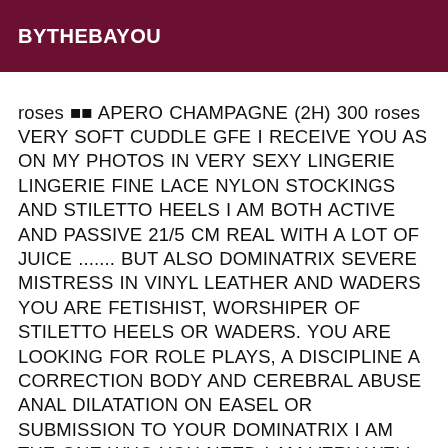BYTHEBAYOU
roses ■■ APERO CHAMPAGNE (2H) 300 roses VERY SOFT CUDDLE GFE I RECEIVE YOU AS ON MY PHOTOS IN VERY SEXY LINGERIE LINGERIE FINE LACE NYLON STOCKINGS AND STILETTO HEELS I AM BOTH ACTIVE AND PASSIVE 21/5 CM REAL WITH A LOT OF JUICE ....... BUT ALSO DOMINATRIX SEVERE MISTRESS IN VINYL LEATHER AND WADERS YOU ARE FETISHIST, WORSHIPER OF STILETTO HEELS OR WADERS. YOU ARE LOOKING FOR ROLE PLAYS, A DISCIPLINE A CORRECTION BODY AND CEREBRAL ABUSE ANAL DILATATION ON EASEL OR SUBMISSION TO YOUR DOMINATRIX I AM THE ONE WHO YOU NEED I AM VERY WELL EQUIPPED AS YOU CAN SEE ON THE PICTURES ........ I ALSO OFFER A FEMDOM SERVICE WHERE I'LL DRESS YOU IN SEXY LITTLE OUTFIT WITH LINGERIE STOCKINGS SHOES SHOES WIG MAKE-UP I WELCOME YOU IN A CHIC AND LUXURIOUS